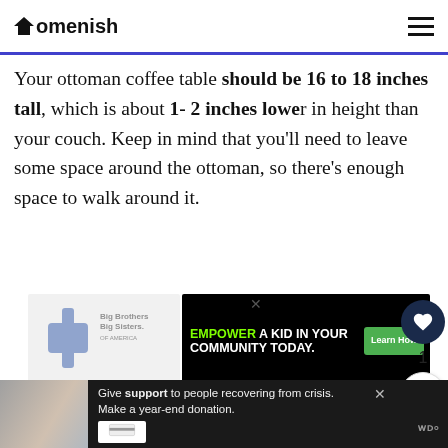Homenish
Your ottoman coffee table should be 16 to 18 inches tall, which is about 1- 2 inches lower in height than your couch. Keep in mind that you’ll need to leave some space around the ottoman, so there’s enough space to walk around it.
[Figure (screenshot): Advertisement banner: Big Brothers Big Sisters logo on left, black background with green text EMPOWER A KID IN YOUR COMMUNITY TODAY. and green Learn How button on right]
[Figure (screenshot): Bottom advertisement banner on dark background: Give support to people recovering from crisis. Make a year-end donation.]